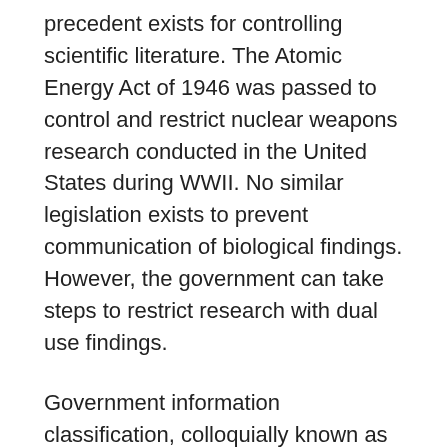precedent exists for controlling scientific literature. The Atomic Energy Act of 1946 was passed to control and restrict nuclear weapons research conducted in the United States during WWII. No similar legislation exists to prevent communication of biological findings. However, the government can take steps to restrict research with dual use findings.
Government information classification, colloquially known as identifying information as top secret, secret, or confidential, is useful for keeping government-owned information away from the public. However, research the government had no part in creating, either through federal funding or conducted by government employees cannot be given a sensitivity label.
A common practice in government funding of